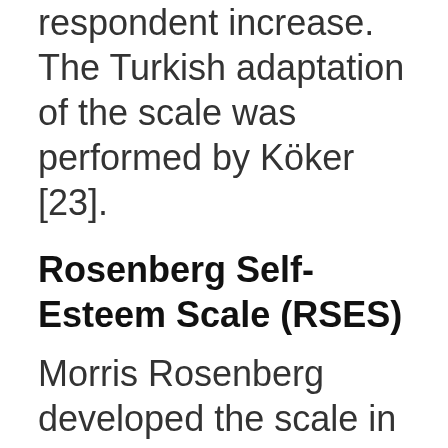satisfaction of the respondent increase. The Turkish adaptation of the scale was performed by Köker [23].
Rosenberg Self-Esteem Scale (RSES)
Morris Rosenberg developed the scale in 1965. The 10 items are answered on a four point